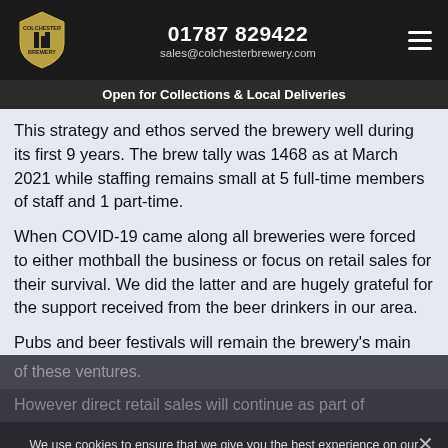01787 829422
sales@colchesterbrewery.com
Open for Collections & Local Deliveries
This strategy and ethos served the brewery well during its first 9 years. The brew tally was 1468 as at March 2021 while staffing remains small at 5 full-time members of staff and 1 part-time.
When COVID-19 came along all breweries were forced to either mothball the business or focus on retail sales for their survival. We did the latter and are hugely grateful for the support received from the beer drinkers in our area.
Pubs and beer festivals will remain the brewery's main
We use cookies to ensure that we give you the best experience on our website. If you continue to use this site we will assume that you are happy with it.